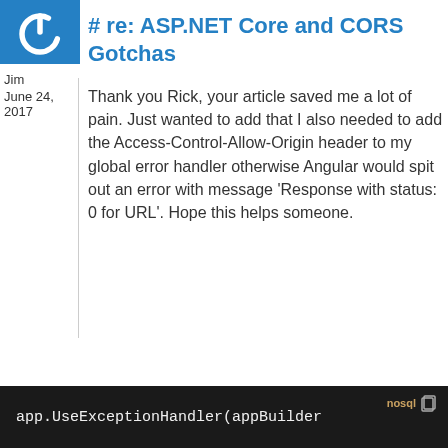[Figure (logo): Blue square with white power button icon (circle with vertical line at top)]
Jim
June 24, 2017
# re: ASP.NET Core and CORS Gotchas
Thank you Rick, your article saved me a lot of pain. Just wanted to add that I also needed to add the Access-Control-Allow-Origin header to my global error handler otherwise Angular would spit out an error with message 'Response with status: 0 for URL'. Hope this helps someone.
[Figure (screenshot): Dark code block showing: app.UseExceptionHandler(appBuilder with nosql/copy overlay icons]